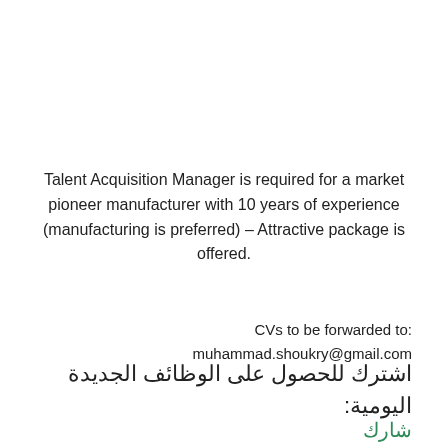Talent Acquisition Manager is required for a market pioneer manufacturer with 10 years of experience (manufacturing is preferred) – Attractive package is offered.
CVs to be forwarded to:
muhammad.shoukry@gmail.com
اشترك للحصول على الوظائف الجديدة اليومية:
شارك